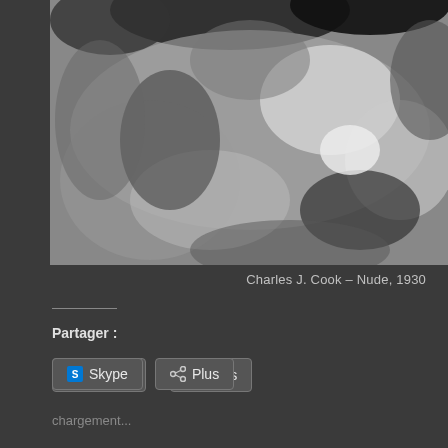[Figure (photo): Black and white grainy photograph, abstract blurry image, monochrome tones with dark and light areas]
Charles J. Cook – Nude, 1930
Partager :
Skype
Plus
chargement...